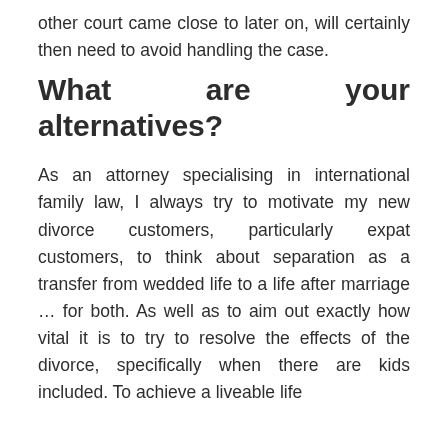other court came close to later on, will certainly then need to avoid handling the case.
What are your alternatives?
As an attorney specialising in international family law, I always try to motivate my new divorce customers, particularly expat customers, to think about separation as a transfer from wedded life to a life after marriage … for both. As well as to aim out exactly how vital it is to try to resolve the effects of the divorce, specifically when there are kids included. To achieve a liveable life